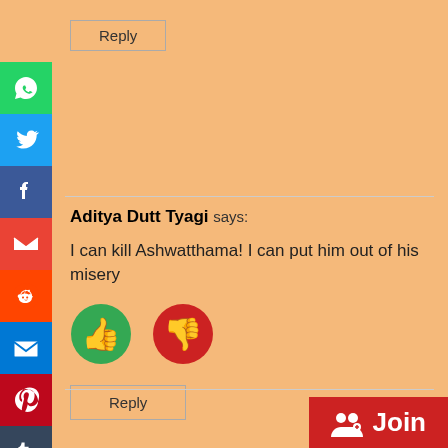[Figure (screenshot): Social media sharing sidebar with icons: WhatsApp (green), Twitter (blue), Facebook (blue), Gmail (red), Reddit (orange-red), Email (blue), Pinterest (red), Tumblr (dark blue), LinkedIn (blue), Share (blue cross)]
Reply
Aditya Dutt Tyagi says:
I can kill Ashwatthama! I can put him out of his misery
[Figure (illustration): Thumbs up green circle icon and thumbs down red circle icon]
Reply
Join